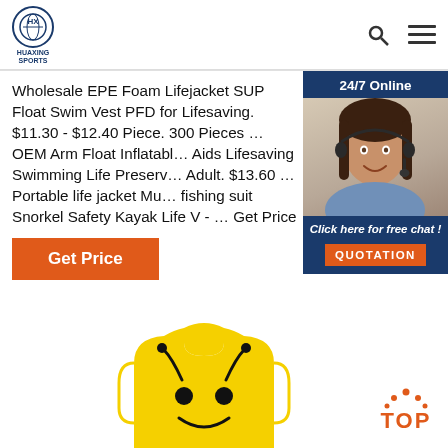HUAXING SPORTS
Wholesale EPE Foam Lifejacket SUP Float Swim Vest PFD for Lifesaving. $11.30 - $12.40 Piece. 300 Pieces … OEM Arm Float Inflatable Aids Lifesaving Swimming Life Preserv… Adult. $13.60 … Portable life jacket Mu fishing suit Snorkel Safety Kayak Life V - … Get Price
[Figure (photo): Customer service representative woman with headset, 24/7 Online chat widget with QUOTATION button]
[Figure (photo): Yellow foam swim vest/life jacket with bee face design]
[Figure (logo): TOP button with orange dots arrow pointing up]